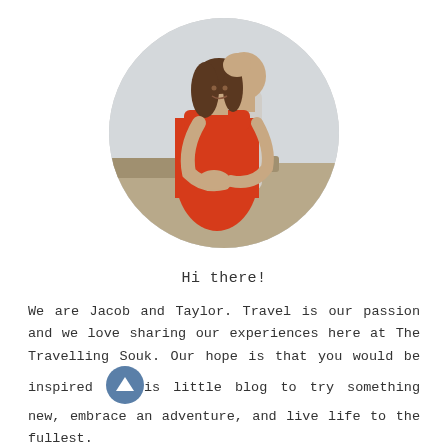[Figure (photo): Circular cropped photo of a couple (Jacob and Taylor) in an outdoor desert setting. A man stands behind a woman in a red dress, embracing her and kissing her on the head. Both are smiling.]
Hi there!
We are Jacob and Taylor. Travel is our passion and we love sharing our experiences here at The Travelling Souk. Our hope is that you would be inspired [by] this little blog to try something new, embrace an adventure, and live life to the fullest.